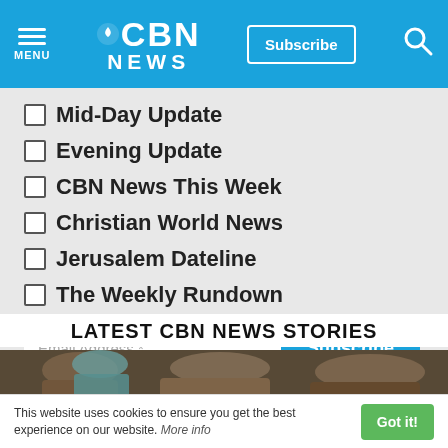CBN NEWS | Subscribe | MENU
Mid-Day Update
Evening Update
CBN News This Week
Christian World News
Jerusalem Dateline
The Weekly Rundown
LATEST CBN NEWS STORIES
[Figure (photo): People bowing heads, appearing to pray, in a group setting]
This website uses cookies to ensure you get the best experience on our website. More info